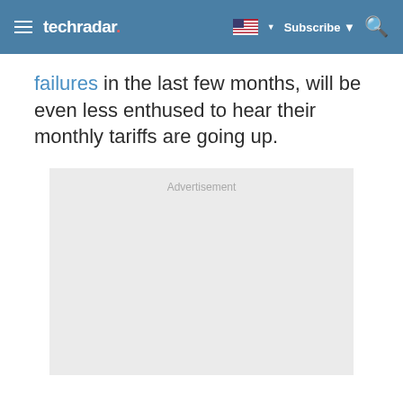techradar
failures in the last few months, will be even less enthused to hear their monthly tariffs are going up.
[Figure (other): Advertisement placeholder box with light gray background and 'Advertisement' label text]